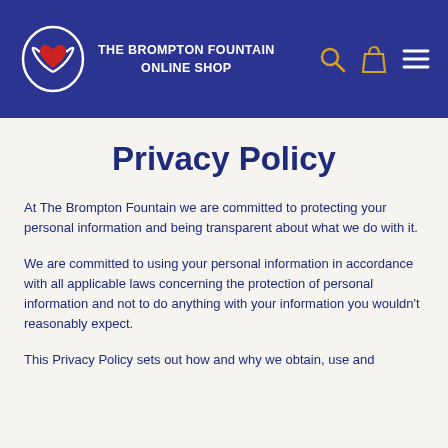THE BROMPTON FOUNTAIN ONLINE SHOP
Privacy Policy
At The Brompton Fountain we are committed to protecting your personal information and being transparent about what we do with it.
We are committed to using your personal information in accordance with all applicable laws concerning the protection of personal information and not to do anything with your information you wouldn't reasonably expect.
This Privacy Policy sets out how and why we obtain, use and